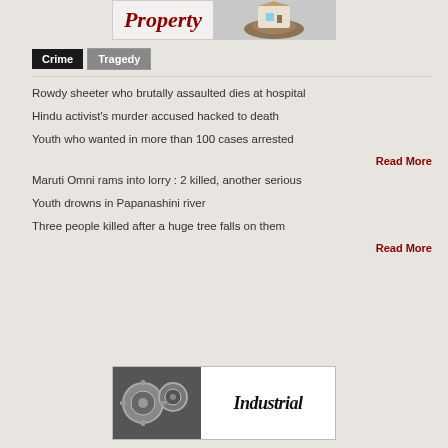[Figure (illustration): Property banner with cursive text 'Property' and image of house in hands]
Crime
Tragedy
Rowdy sheeter who brutally assaulted dies at hospital
Hindu activist's murder accused hacked to death
Youth who wanted in more than 100 cases arrested
Read More
Maruti Omni rams into lorry : 2 killed, another serious
Youth drowns in Papanashini river
Three people killed after a huge tree falls on them
Read More
[Figure (illustration): Industrial banner with gears image and italic text 'Industrial']